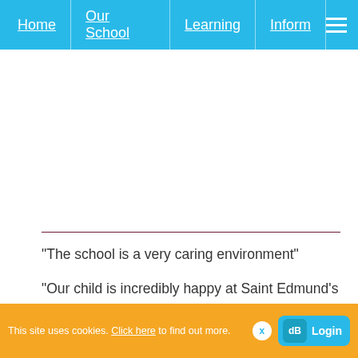Home | Our School | Learning | Inform
"The school is a very caring environment"
"Our child is incredibly happy at Saint Edmund's and is progressing well"
"My child's confidence and skills have hugely improved since starting at Saint Edmund's.  We are very happy with her progress and learning"
This site uses cookies. Click here to find out more. X | Login